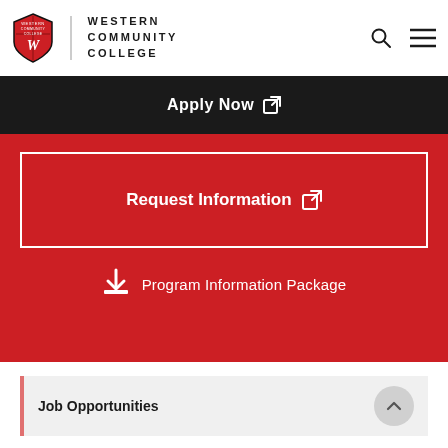Western Community College
Apply Now
Request Information
Program Information Package
Job Opportunities